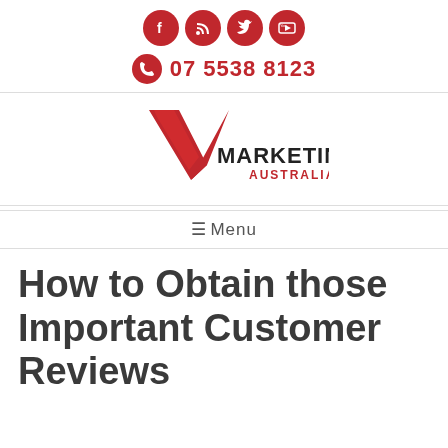[Figure (logo): Four red circular social media icons: Facebook, RSS, Twitter, YouTube]
[Figure (logo): Phone icon in red circle with phone number 07 5538 8123]
[Figure (logo): V Marketing Australia logo with large red V and dark text]
Menu
How to Obtain those Important Customer Reviews